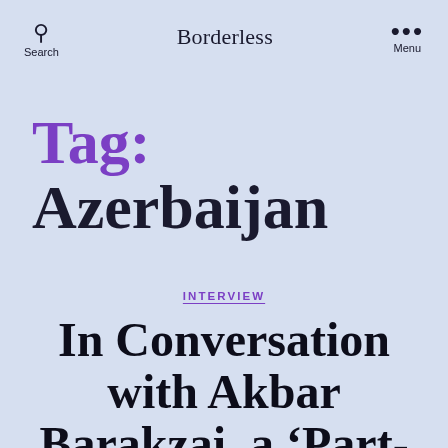Search   Borderless   Menu
Tag: Azerbaijan
INTERVIEW
In Conversation with Akbar Barakzai, a 'Part-time Poet' in